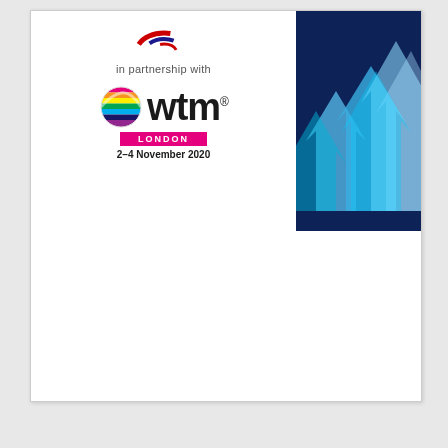[Figure (logo): WTM London logo with globe icon, 'in partnership with wtm® LONDON 2–4 November 2020' text, alongside a dark blue background panel with upward arrow chart graphics]
in partnership with
wtm®
LONDON
2–4 November 2020